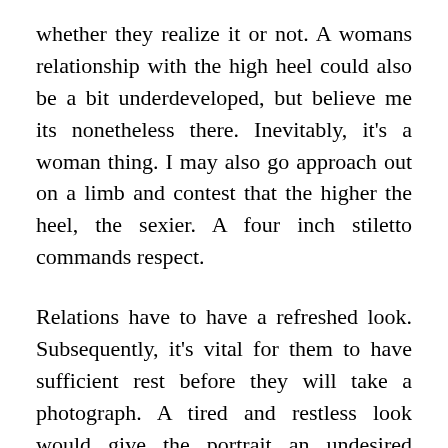whether they realize it or not. A womans relationship with the high heel could also be a bit underdeveloped, but believe me its nonetheless there. Inevitably, it's a woman thing. I may also go approach out on a limb and contest that the higher the heel, the sexier. A four inch stiletto commands respect.
Relations have to have a refreshed look. Subsequently, it's vital for them to have sufficient rest before they will take a photograph. A tired and restless look would give the portrait an undesired effect. Relations and friends need to put off stress